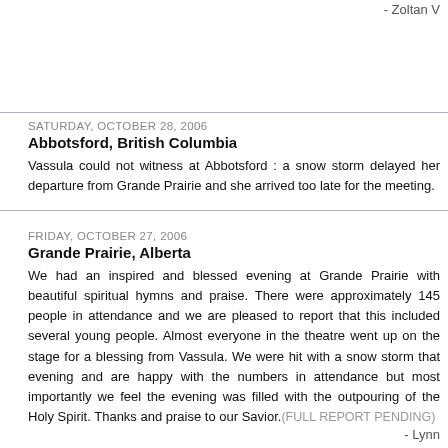- Zoltan V
SATURDAY, OCTOBER 28, 2006
Abbotsford, British Columbia
Vassula could not witness at Abbotsford : a snow storm delayed her departure from Grande Prairie and she arrived too late for the meeting.
FRIDAY, OCTOBER 27, 2006
Grande Prairie, Alberta
We had an inspired and blessed evening at Grande Prairie with beautiful spiritual hymns and praise. There were approximately 145 people in attendance and we are pleased to report that this included several young people. Almost everyone in the theatre went up on the stage for a blessing from Vassula. We were hit with a snow storm that evening and are happy with the numbers in attendance but most importantly we feel the evening was filled with the outpouring of the Holy Spirit. Thanks and praise to our Savior.(FULL REPORT PENDING)
- Lynn